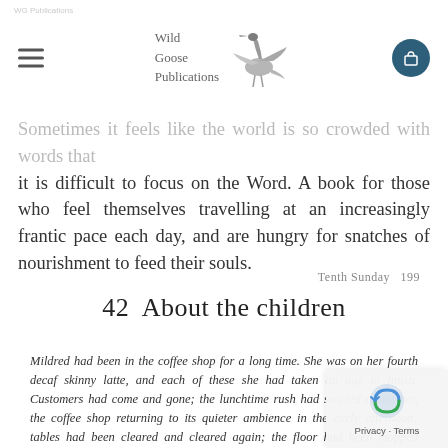Wild Goose Publications
Sometimes it feels like the world is so crowded with words that it is difficult to focus on the Word. A book for those who feel themselves travelling at an increasingly frantic pace each day, and are hungry for snatches of nourishment to feed their souls.
Tenth Sunday  199
42  About the children
Mildred had been in the coffee shop for a long time. She was on her fourth decaf skinny latte, and each of these she had taken an age to finish. Customers had come and gone; the lunchtime rush had swirled round her, the coffee shop returning to its quieter ambience in the early afternoon; tables had been cleared and cleared again; the floor had been mopped several times; the napkin holders and milk jugs had been appropriately replenished. And still Mildred sat alone at